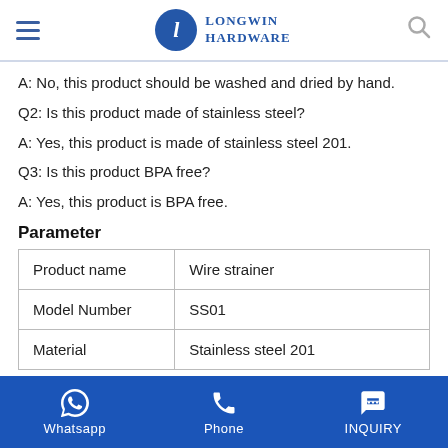Longwin Hardware
A: No, this product should be washed and dried by hand.
Q2: Is this product made of stainless steel?
A: Yes, this product is made of stainless steel 201.
Q3: Is this product BPA free?
A: Yes, this product is BPA free.
Parameter
|  |  |
| --- | --- |
| Product name | Wire strainer |
| Model Number | SS01 |
| Material | Stainless steel 201 |
Whatsapp | Phone | INQUIRY